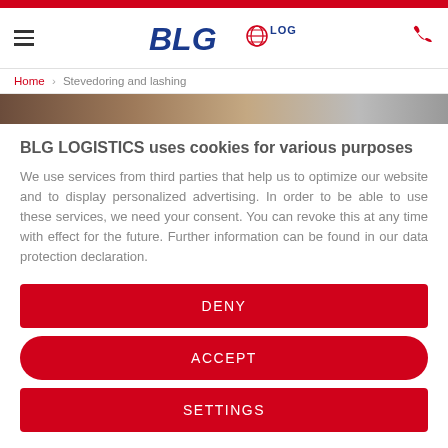BLG LOGISTICS (logo) | Home > Stevedoring and lashing
[Figure (photo): Hero image strip showing stevedoring equipment/ropes]
BLG LOGISTICS uses cookies for various purposes
We use services from third parties that help us to optimize our website and to display personalized advertising. In order to be able to use these services, we need your consent. You can revoke this at any time with effect for the future. Further information can be found in our data protection declaration.
DENY
ACCEPT
SETTINGS
Imprint | Privacy Policy